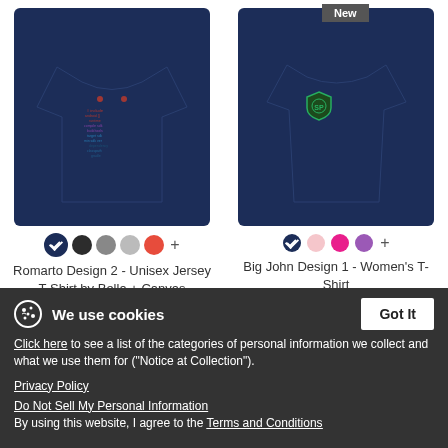[Figure (photo): Navy blue unisex jersey t-shirt with a red, blue, and black graphic print (Android-like shape made of text/code pattern)]
[Figure (photo): Navy blue women's fit t-shirt with a small green shield/badge logo on chest. 'New' badge in top corner.]
Romarto Design 2 - Unisex Jersey T-Shirt by Bella + Canvas
$24.49
Big John Design 1 - Women's T-Shirt
$21.99
We use cookies
Click here to see a list of the categories of personal information we collect and what we use them for ("Notice at Collection").
Privacy Policy
Do Not Sell My Personal Information
By using this website, I agree to the Terms and Conditions
[Figure (photo): Partially visible dark/black t-shirt with New badge, bottom portion of page]
[Figure (photo): Partially visible dark/black t-shirt, bottom right portion of page]